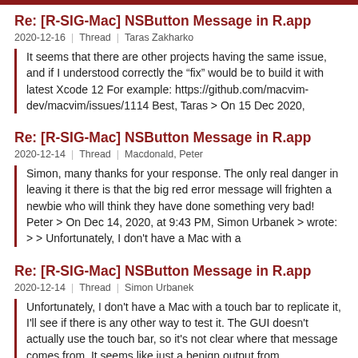Re: [R-SIG-Mac] NSButton Message in R.app
2020-12-16 | Thread | Taras Zakharko
It seems that there are other projects having the same issue, and if I understood correctly the “fix” would be to build it with latest Xcode 12 For example: https://github.com/macvim-dev/macvim/issues/1114 Best, Taras > On 15 Dec 2020,
Re: [R-SIG-Mac] NSButton Message in R.app
2020-12-14 | Thread | Macdonald, Peter
Simon, many thanks for your response. The only real danger in leaving it there is that the big red error message will frighten a newbie who will think they have done something very bad! Peter > On Dec 14, 2020, at 9:43 PM, Simon Urbanek > wrote: > > Unfortunately, I don't have a Mac with a
Re: [R-SIG-Mac] NSButton Message in R.app
2020-12-14 | Thread | Simon Urbanek
Unfortunately, I don't have a Mac with a touch bar to replicate it, I'll see if there is any other way to test it. The GUI doesn't actually use the touch bar, so it's not clear where that message comes from. It seems like just a benign output from